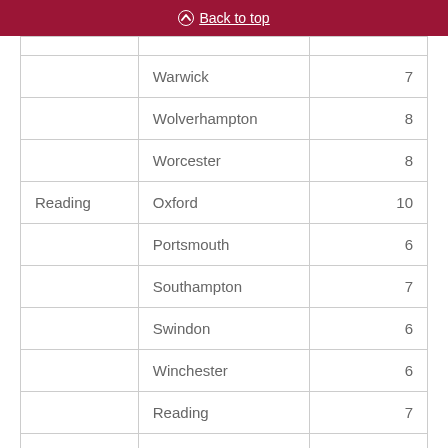Back to top
|  | Warwick | 7 |
|  | Wolverhampton | 8 |
|  | Worcester | 8 |
| Reading | Oxford | 10 |
|  | Portsmouth | 6 |
|  | Southampton | 7 |
|  | Swindon | 6 |
|  | Winchester | 6 |
|  | Reading | 7 |
|  |  |  |